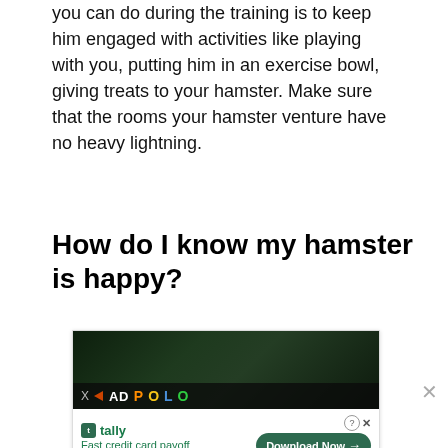you can do during the training is to keep him engaged with activities like playing with you, putting him in an exercise bowl, giving treats to your hamster. Make sure that the rooms your hamster venture have no heavy lightning.
How do I know my hamster is happy?
[Figure (screenshot): Advertisement banner showing dark green background image with ADPOLO branding bar, and below it a Tally app ad with 'Fast credit card payoff' text and 'Download Now' button.]